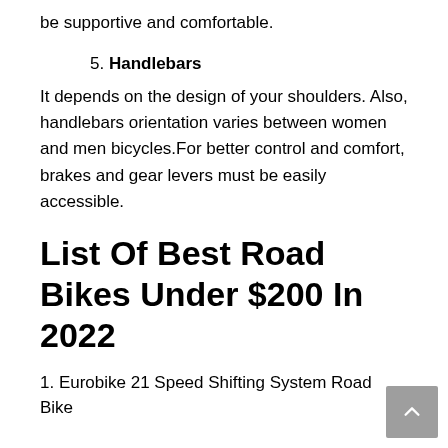be supportive and comfortable.
5. Handlebars
It depends on the design of your shoulders. Also, handlebars orientation varies between women and men bicycles.For better control and comfort, brakes and gear levers must be easily accessible.
List Of Best Road Bikes Under $200 In 2022
1. Eurobike 21 Speed Shifting System Road Bike